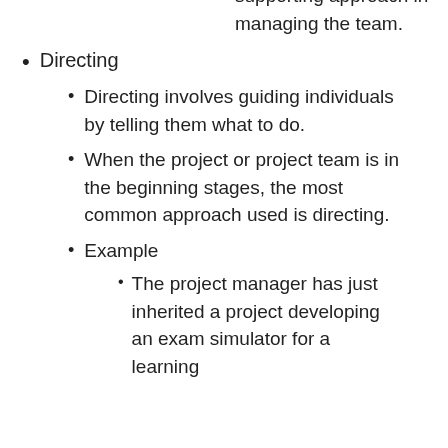supporting approach in managing the team.
Directing
Directing involves guiding individuals by telling them what to do.
When the project or project team is in the beginning stages, the most common approach used is directing.
Example
The project manager has just inherited a project developing an exam simulator for a learning